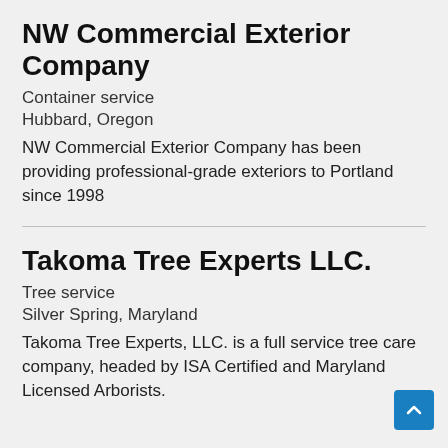NW Commercial Exterior Company
Container service
Hubbard, Oregon
NW Commercial Exterior Company has been providing professional-grade exteriors to Portland since 1998
Takoma Tree Experts LLC.
Tree service
Silver Spring, Maryland
Takoma Tree Experts, LLC. is a full service tree care company, headed by ISA Certified and Maryland Licensed Arborists.